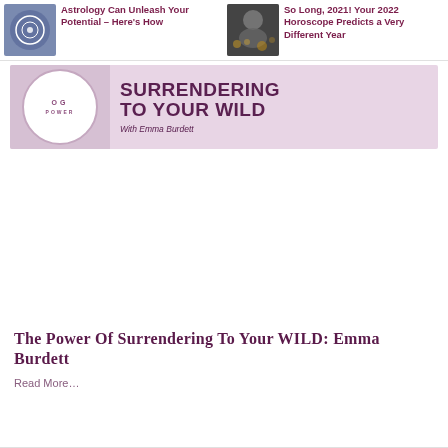Astrology Can Unleash Your Potential – Here’s How
So Long, 2021! Your 2022 Horoscope Predicts a Very Different Year
[Figure (illustration): Pink banner with large circle on left side, text reading OG POWER and SURRENDERING TO YOUR WILD, With Emma Burdett]
The Power Of Surrendering To Your WILD: Emma Burdett
Read More…